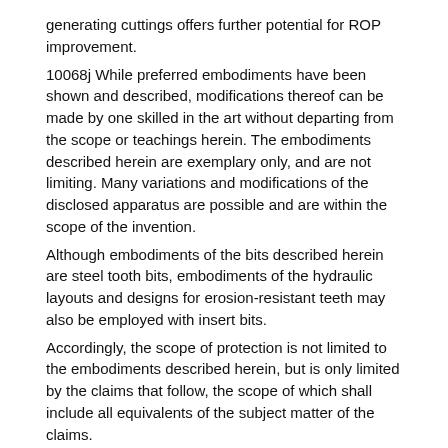generating cuttings offers further potential for ROP improvement.
10068j While preferred embodiments have been shown and described, modifications thereof can be made by one skilled in the art without departing from the scope or teachings herein. The embodiments described herein are exemplary only, and are not limiting. Many variations and modifications of the disclosed apparatus are possible and are within the scope of the invention.
Although embodiments of the bits described herein are steel tooth bits, embodiments of the hydraulic layouts and designs for erosion-resistant teeth may also be employed with insert bits.
Accordingly, the scope of protection is not limited to the embodiments described herein, but is only limited by the claims that follow, the scope of which shall include all equivalents of the subject matter of the claims.
Patent Citations (29)
| Publication number | Priority date | Publication date | Ass |
| --- | --- | --- | --- |